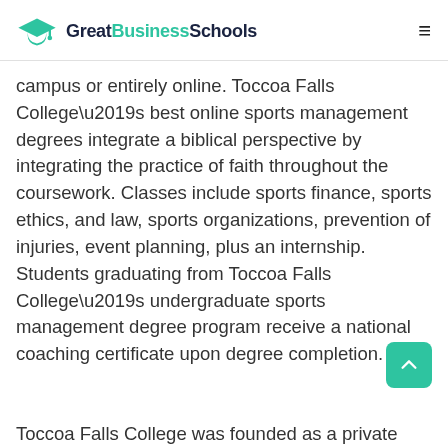GreatBusinessSchools
campus or entirely online. Toccoa Falls College’s best online sports management degrees integrate a biblical perspective by integrating the practice of faith throughout the coursework. Classes include sports finance, sports ethics, and law, sports organizations, prevention of injuries, event planning, plus an internship. Students graduating from Toccoa Falls College’s undergraduate sports management degree program receive a national coaching certificate upon degree completion.
Toccoa Falls College was founded as a private